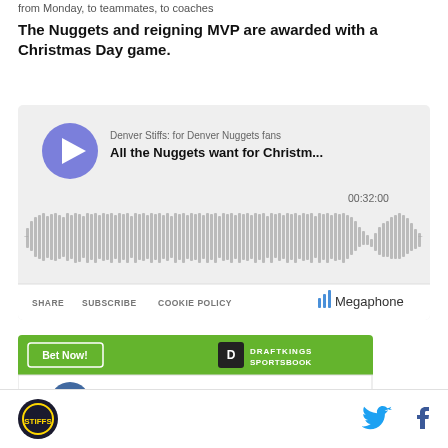from Monday, to teammates, to coaches
The Nuggets and reigning MVP are awarded with a Christmas Day game.
[Figure (screenshot): Podcast player embed showing 'Denver Stiffs: for Denver Nuggets fans' with episode 'All the Nuggets want for Christm...' Duration 00:32:00, waveform visualization, and Megaphone branding with SHARE, SUBSCRIBE, COOKIE POLICY links.]
[Figure (screenshot): DraftKings Sportsbook widget with green header showing 'Bet Now!' button and DraftKings Sportsbook logo, white body showing Denver Nuggets team entry.]
Denver Stiffs site logo, Twitter icon, Facebook icon